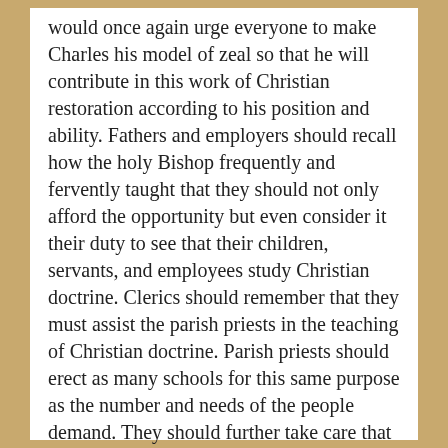would once again urge everyone to make Charles his model of zeal so that he will contribute in this work of Christian restoration according to his position and ability. Fathers and employers should recall how the holy Bishop frequently and fervently taught that they should not only afford the opportunity but even consider it their duty to see that their children, servants, and employees study Christian doctrine. Clerics should remember that they must assist the parish priests in the teaching of Christian doctrine. Parish priests should erect as many schools for this same purpose as the number and needs of the people demand. They should further take care that they have upright teachers, who will be assisted by men and women of good morals according to the manner the holy Archbishop Milan prescribed.[40]
24. Obviously the need of this Christian instruction is accentuated by the decline of our times and morals. It is even more demanded by the existence of those public schools, lacking all religion, where everything holy is ridiculed and